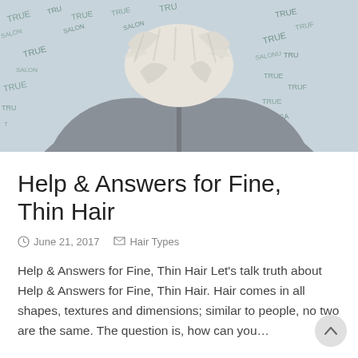[Figure (photo): Back view of a person with short platinum blonde/white hair wearing a grey jacket, standing in front of a patterned background with 'True Salon' text repeated.]
Help & Answers for Fine, Thin Hair
June 21, 2017   Hair Types
Help & Answers for Fine, Thin Hair Let's talk truth about Help & Answers for Fine, Thin Hair. Hair comes in all shapes, textures and dimensions; similar to people, no two are the same. The question is, how can you…